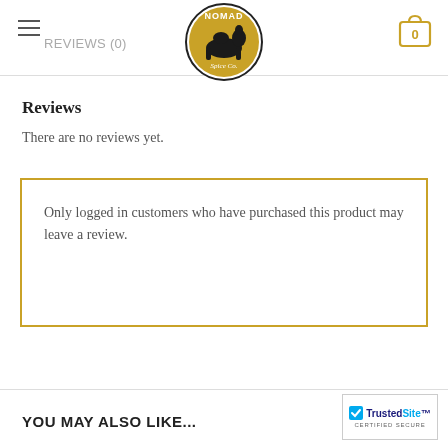REVIEWS (0)
[Figure (logo): Nomad Spice Co circular logo with camel silhouette on golden background]
Reviews
There are no reviews yet.
Only logged in customers who have purchased this product may leave a review.
YOU MAY ALSO LIKE...
[Figure (logo): TrustedSite Certified Secure badge]